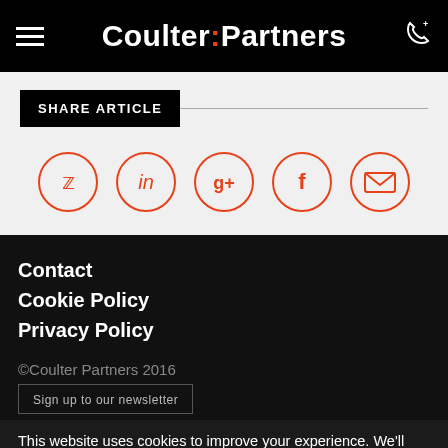Coulter:Partners
SHARE ARTICLE
[Figure (other): Social sharing icons: Twitter, LinkedIn, Google+, Facebook, Email — each in an orange circle outline]
Contact
Cookie Policy
Privacy Policy
©Coulter Partners 2016
This website uses cookies to improve your experience. We'll assume you're ok with this, but you can opt-out if you wish.
Accept  Read More